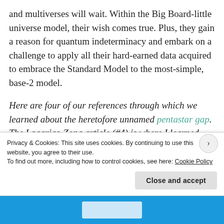and multiverses will wait. Within the Big Board-little universe model, their wish comes true. Plus, they gain a reason for quantum indeterminacy and embark on a challenge to apply all their hard-earned data acquired to embrace the Standard Model to the most-simple, base-2 model.
Here are four of our references through which we learned about the heretofore unnamed pentastar gap.  The Lagarias-Zong article (#4) is where I learned about Aristotle's mistake.
1. Frank, F. C.; Kasper, J. S. (1958), "Complex alloy …"
Privacy & Cookies: This site uses cookies. By continuing to use this website, you agree to their use.
To find out more, including how to control cookies, see here: Cookie Policy
Close and accept